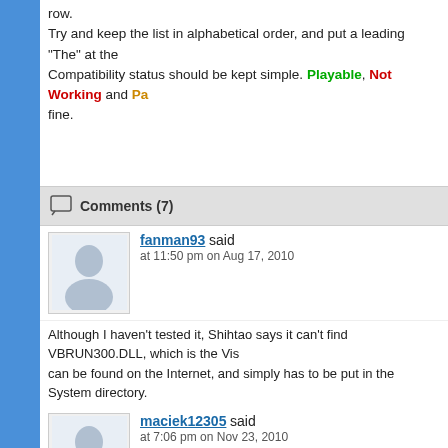row.
Try and keep the list in alphabetical order, and put a leading "The" at the
Compatibility status should be kept simple. Playable, Not Working and Pa... fine.
Comments (7)
fanman93 said at 11:50 pm on Aug 17, 2010
Although I haven't tested it, Shihtao says it can't find VBRUN300.DLL, which is the Vis... can be found on the Internet, and simply has to be put in the System directory.
maciek12305 said at 7:06 pm on Nov 23, 2010
Some Real Mode Applications DS Tested : http://www.youtube.com/watch?v=PxGDFU...
Cheesewig said at 11:59 am on Jun 26, 2011
Where can you get Pipe Mania?